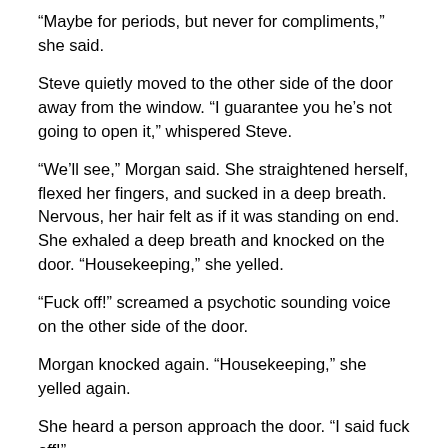“Maybe for periods, but never for compliments,” she said.
Steve quietly moved to the other side of the door away from the window. “I guarantee you he’s not going to open it,” whispered Steve.
“We’ll see,” Morgan said. She straightened herself, flexed her fingers, and sucked in a deep breath. Nervous, her hair felt as if it was standing on end.  She exhaled a deep breath and knocked on the door. “Housekeeping,” she yelled.
“Fuck off!” screamed a psychotic sounding voice on the other side of the door.
Morgan knocked again. “Housekeeping,” she yelled again.
She heard a person approach the door. “I said fuck off!”
Steve raised his brow to signal that this isn't working. Morgan held up her index finger to signal to give her one more try. She knocked again. “Blowjob,” she yelled.
A moment of silence. There was a look of surprise on Steve’s